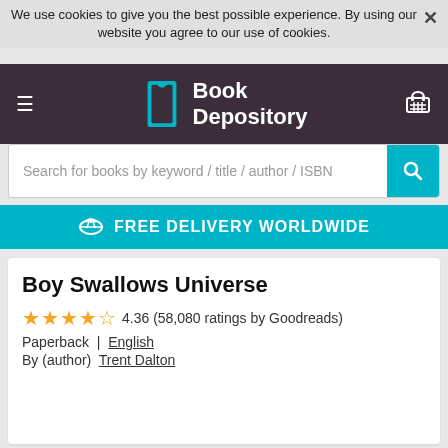We use cookies to give you the best possible experience. By using our website you agree to our use of cookies.
[Figure (screenshot): Book Depository website navigation bar with logo, hamburger menu, and shopping cart]
Search for books by keyword / title / author / ISBN
FREE DELIVERY WORLDWIDE
Boy Swallows Universe
4.36 (58,080 ratings by Goodreads)
Paperback  |  English
By (author)  Trent Dalton
[Figure (photo): Book cover of Boy Swallows Universe by Trent Dalton showing blue atmospheric cover with moon and silhouetted figure. Text reads THE INTERNATIONAL BESTSELLER Boy Swallows Universe]